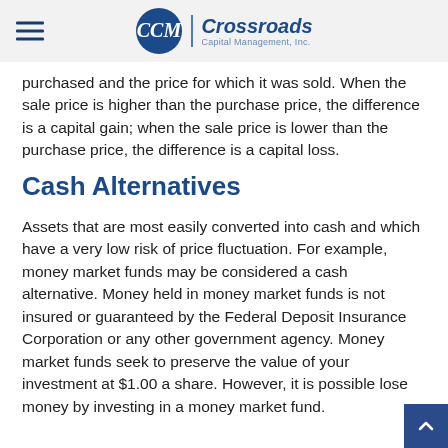Crossroads Capital Management, Inc.
purchased and the price for which it was sold. When the sale price is higher than the purchase price, the difference is a capital gain; when the sale price is lower than the purchase price, the difference is a capital loss.
Cash Alternatives
Assets that are most easily converted into cash and which have a very low risk of price fluctuation. For example, money market funds may be considered a cash alternative. Money held in money market funds is not insured or guaranteed by the Federal Deposit Insurance Corporation or any other government agency. Money market funds seek to preserve the value of your investment at $1.00 a share. However, it is possible lose money by investing in a money market fund.